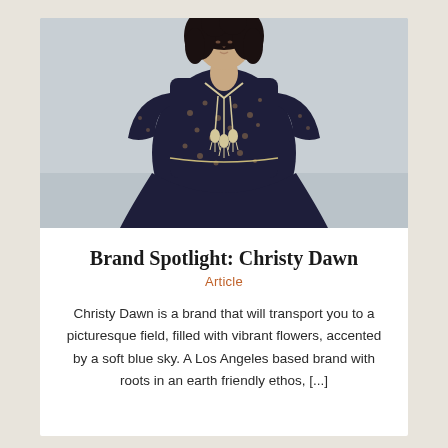[Figure (photo): A woman wearing a dark navy floral dress with white tassel ties at the neckline, standing against a light grey/white background. She has curly dark hair. The photo is cropped from roughly the waist up.]
Brand Spotlight: Christy Dawn
Article
Christy Dawn is a brand that will transport you to a picturesque field, filled with vibrant flowers, accented by a soft blue sky. A Los Angeles based brand with roots in an earth friendly ethos, [...]